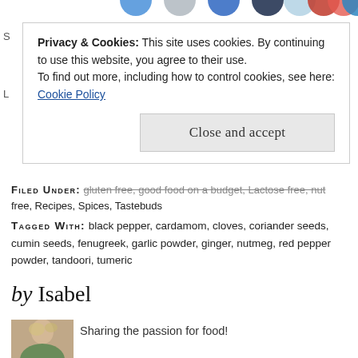Privacy & Cookies: This site uses cookies. By continuing to use this website, you agree to their use.
To find out more, including how to control cookies, see here:
Cookie Policy
Close and accept
FILED UNDER: gluten free, good food on a budget, Lactose free, nut free, Recipes, Spices, Tastebuds
TAGGED WITH: black pepper, cardamom, cloves, coriander seeds, cumin seeds, fenugreek, garlic powder, ginger, nutmeg, red pepper powder, tandoori, tumeric
by Isabel
[Figure (photo): Photo of Isabel, a woman with blonde hair]
Sharing the passion for food!